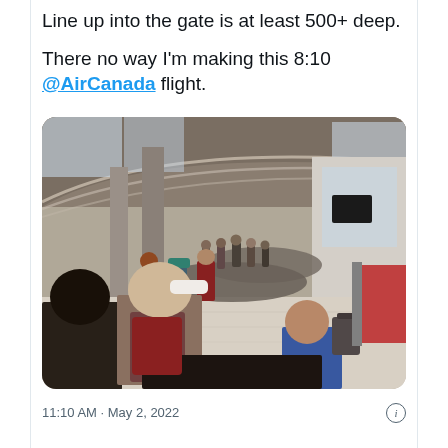Line up into the gate is at least 500+ deep.
There no way I'm making this 8:10 @AirCanada flight.
[Figure (photo): Airport terminal with a long queue of people waiting in line, stretching far into the distance. The terminal has a curved wooden ceiling with skylights, and people are standing in a dense crowd with luggage. Other travelers walk on the right side.]
11:10 AM · May 2, 2022